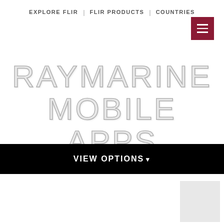EXPLORE FLIR | FLIR PRODUCTS | COUNTRIES
[Figure (other): Dark red hamburger menu button with three white horizontal lines]
RAYMARINE MOBILE APPS
MARINE APPS FOR NAVIGATING, FISHING, AND REMOTE CONTROL
VIEW OPTIONS▾
[Figure (other): Light gray rectangle in lower right corner, partial image or placeholder]